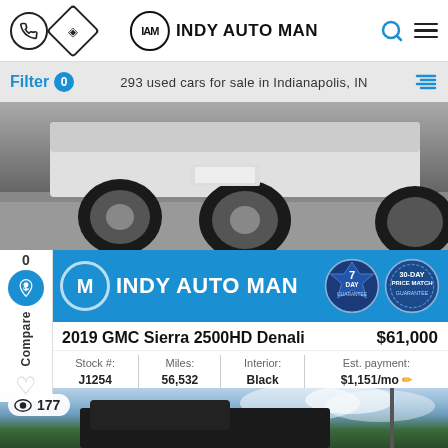INDY AUTO MAN
Filter 0 — 293 used cars for sale in Indianapolis, IN
[Figure (photo): Undercarriage and tires of a white GMC Sierra truck in a dealership lot]
[Figure (logo): Indy Auto Man dealer banner with logo, 7-Day Guarantee badge, and 30-Day Price Match Guarantee badge]
2019 GMC Sierra 2500HD Denali — $61,000
| Stock # | Miles | Interior | Est. payment |
| --- | --- | --- | --- |
| J1254 | 56,532 | Black | $1,151/mo |
[Figure (photo): Black GMC Sierra truck photographed outdoors under partly cloudy skies, 177 views]